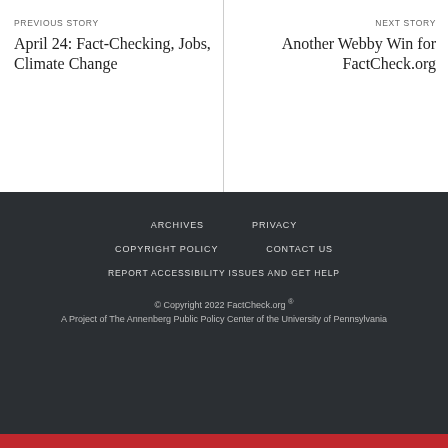PREVIOUS STORY
April 24: Fact-Checking, Jobs, Climate Change
NEXT STORY
Another Webby Win for FactCheck.org
ARCHIVES  PRIVACY  COPYRIGHT POLICY  CONTACT US  REPORT ACCESSIBILITY ISSUES AND GET HELP  © Copyright 2022 FactCheck.org ®  A Project of The Annenberg Public Policy Center of the University of Pennsylvania